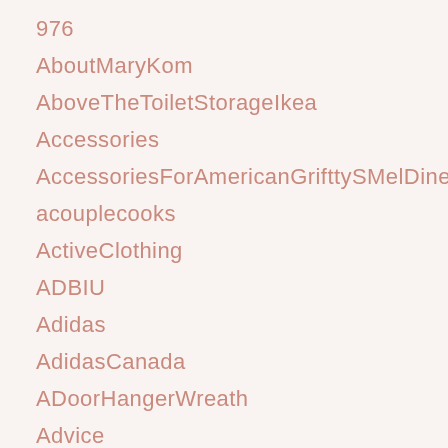976
AboutMaryKom
AboveTheToiletStorageIkea
Accessories
AccessoriesForAmericanGrifttySMelDiners
acouplecooks
ActiveClothing
ADBIU
Adidas
AdidasCanada
ADoorHangerWreath
Advice
AELS
AICOK